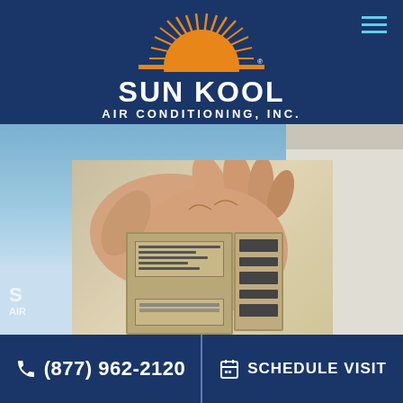[Figure (logo): Sun Kool Air Conditioning Inc. logo — orange sun rising over a horizon with rays, orange horizontal bar, white text SUN KOOL AIR CONDITIONING, INC. on dark navy background]
[Figure (photo): Photo of a hand adjusting a thermostat on a beige wall, with blue sky and a white building visible in the background]
(877) 962-2120
SCHEDULE VISIT